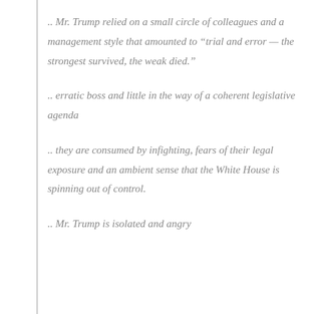.. Mr. Trump relied on a small circle of colleagues and a management style that amounted to “trial and error — the strongest survived, the weak died.”
.. erratic boss and little in the way of a coherent legislative agenda
.. they are consumed by infighting, fears of their legal exposure and an ambient sense that the White House is spinning out of control.
.. Mr. Trump is isolated and angry